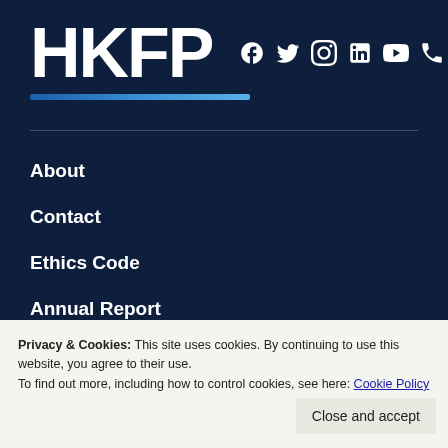[Figure (logo): HKFP logo text in white bold letters with social media icons (Facebook, Twitter, Instagram, LinkedIn, YouTube, Phone, RSS) to the right, and a blue gradient bar below]
About
Contact
Ethics Code
Annual Report
Privacy & Cookies: This site uses cookies. By continuing to use this website, you agree to their use.
To find out more, including how to control cookies, see here: Cookie Policy
Close and accept